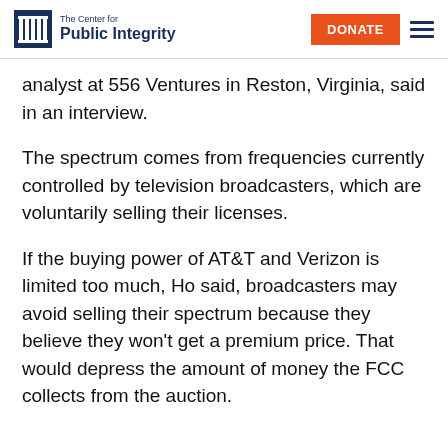The Center for Public Integrity | DONATE
analyst at 556 Ventures in Reston, Virginia, said in an interview.
The spectrum comes from frequencies currently controlled by television broadcasters, which are voluntarily selling their licenses.
If the buying power of AT&T and Verizon is limited too much, Ho said, broadcasters may avoid selling their spectrum because they believe they won’t get a premium price. That would depress the amount of money the FCC collects from the auction.